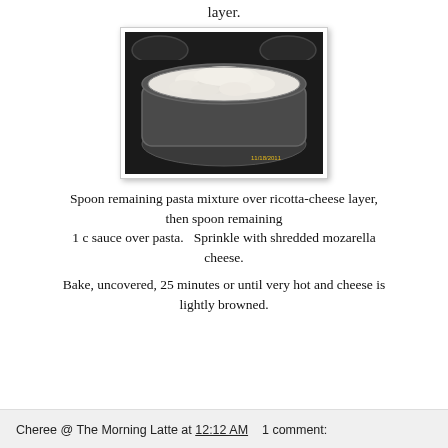layer.
[Figure (photo): A glass baking dish filled with a white ricotta-cheese layer on top, sitting on a dark stovetop surface. Timestamp reads 11/18/2011.]
Spoon remaining pasta mixture over ricotta-cheese layer, then spoon remaining 1 c sauce over pasta.   Sprinkle with shredded mozarella cheese.
Bake, uncovered, 25 minutes or until very hot and cheese is lightly browned.
Cheree @ The Morning Latte at 12:12 AM    1 comment: